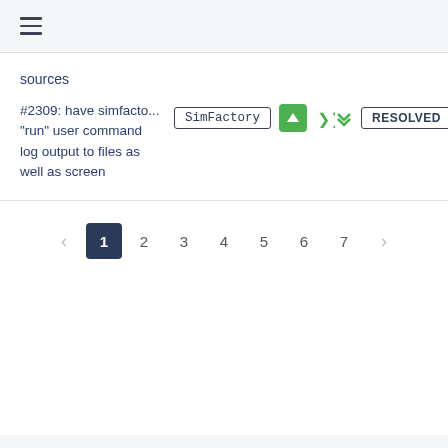≡ (hamburger menu icon)
sources
#2309: have simfacto... "run" user command log output to files as well as screen
[Figure (screenshot): Issue row with SimFactory label badge, green up-vote button, green down-chevron, and RESOLVED status badge]
[Figure (infographic): Pagination bar showing pages 1 through 7 with left and right arrows; page 1 is highlighted in dark navy blue]